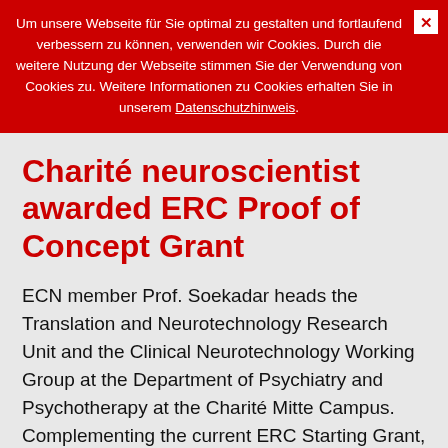Um unsere Webseite für Sie optimal zu gestalten und fortlaufend verbessern zu können, verwenden wir Cookies. Durch die weitere Nutzung der Webseite stimmen Sie der Verwendung von Cookies zu. Weitere Informationen zu Cookies erhalten Sie in unserem Datenschutzhinweis.
Charité neuroscientist awarded ERC Proof of Concept Grant
ECN member Prof. Soekadar heads the Translation and Neurotechnology Research Unit and the Clinical Neurotechnology Working Group at the Department of Psychiatry and Psychotherapy at the Charité Mitte Campus. Complementing the current ERC Starting Grant, a proof-of-concept grant